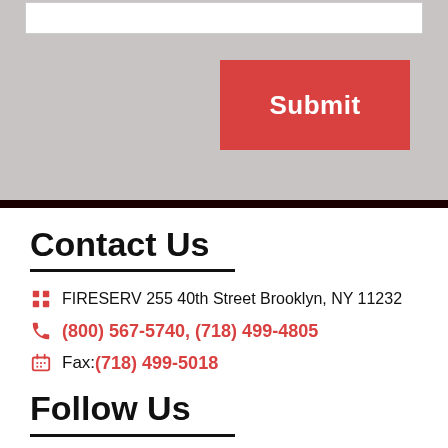Submit
Contact Us
FIRESERV 255 40th Street Brooklyn, NY 11232
(800) 567-5740, (718) 499-4805
Fax: (718) 499-5018
Follow Us
[Figure (illustration): Social media icons: Facebook, Twitter, YouTube]